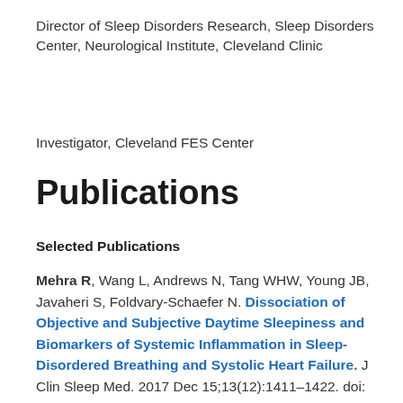Director of Sleep Disorders Research, Sleep Disorders Center, Neurological Institute, Cleveland Clinic
Investigator, Cleveland FES Center
Publications
Selected Publications
Mehra R, Wang L, Andrews N, Tang WHW, Young JB, Javaheri S, Foldvary-Schaefer N. Dissociation of Objective and Subjective Daytime Sleepiness and Biomarkers of Systemic Inflammation in Sleep-Disordered Breathing and Systolic Heart Failure. J Clin Sleep Med. 2017 Dec 15;13(12):1411–1422. doi: